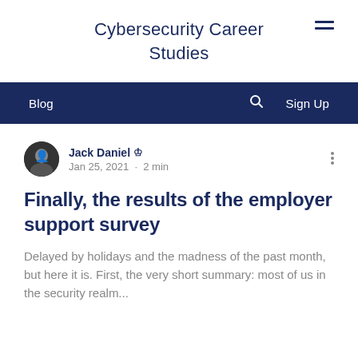Cybersecurity Career Studies
Blog  Sign Up
Jack Daniel · Jan 25, 2021 · 2 min
Finally, the results of the employer support survey
Delayed by holidays and the madness of the past month, but here it is. First, the very short summary: most of us in the security realm...